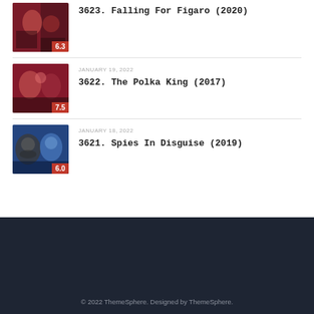3623. Falling For Figaro (2020)
3622. The Polka King (2017)
3621. Spies In Disguise (2019)
© 2022 ThemeSphere. Designed by ThemeSphere.